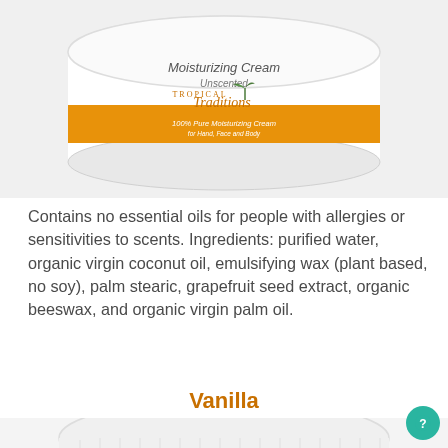[Figure (photo): Top portion of a white jar of Tropical Traditions Moisturizing Cream Unscented with orange branding label, cropped showing the top and sides of the container]
Contains no essential oils for people with allergies or sensitivities to scents. Ingredients: purified water, organic virgin coconut oil, emulsifying wax (plant based, no soy), palm stearic, grapefruit seed extract, organic beeswax, and organic virgin palm oil.
Vanilla
[Figure (photo): Top portion of a plain white jar/container with white lid, partially visible from the bottom of the page]